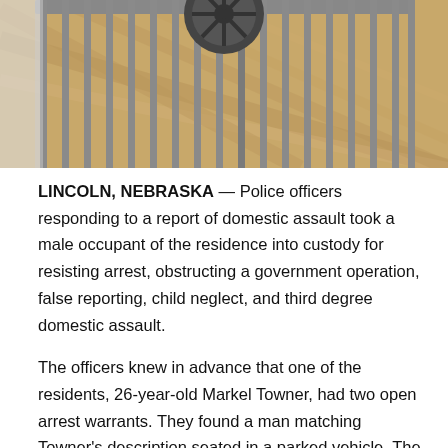[Figure (photo): Close-up photo of jail cell bars with wooden floor visible behind bars and what appears to be a circular metal object at the top.]
LINCOLN, NEBRASKA — Police officers responding to a report of domestic assault took a male occupant of the residence into custody for resisting arrest, obstructing a government operation, false reporting, child neglect, and third degree domestic assault.
The officers knew in advance that one of the residents, 26-year-old Markel Towner, had two open arrest warrants. They found a man matching Towner's description seated in a parked vehicle. The man identified himself as "Deangelo Towns."
When the officers placed the man under arrest, he protested that he had